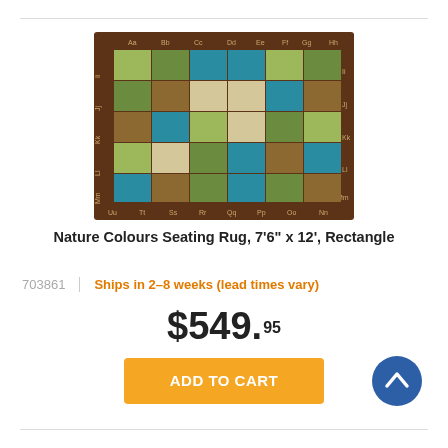[Figure (photo): A rectangular educational rug with a dark brown border showing alphabet letters. The interior has a grid of colored squares in shades of teal, green, olive, tan, and brown arranged in a 6x5 pattern.]
Nature Colours Seating Rug, 7'6" x 12', Rectangle
703861  |  Ships in 2-8 weeks (lead times vary)
$549.95
ADD TO CART